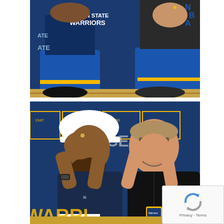[Figure (photo): Top cropped photo showing two NBA players sitting courtside wearing Golden State Warriors gear including blue shorts and a Golden State Warriors t-shirt. Partial view from waist down.]
[Figure (photo): Bottom photo showing two men, one wearing a white cap and dark navy long-sleeve shirt (Stephen Curry) and another in a black t-shirt with a lanyard/credential badge (Steve Kerr), both making a celebratory hand gesture with palms pressed together raised to face level, smiling, in front of a Golden State Warriors arena background with yellow Warriors text visible.]
[Figure (other): reCAPTCHA privacy badge in bottom right corner showing the reCAPTCHA logo with Privacy and Terms links.]